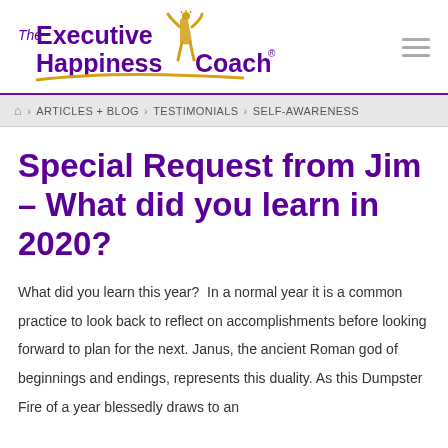The Executive Happiness Coach®
⌂ › ARTICLES + BLOG › TESTIMONIALS › SELF-AWARENESS
Special Request from Jim – What did you learn in 2020?
What did you learn this year?  In a normal year it is a common practice to look back to reflect on accomplishments before looking forward to plan for the next. Janus, the ancient Roman god of beginnings and endings, represents this duality. As this Dumpster Fire of a year blessedly draws to an